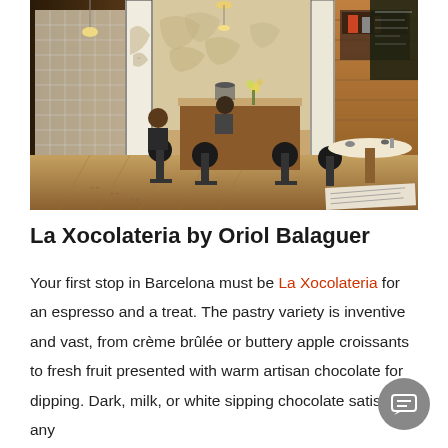[Figure (photo): Interior of La Xocolateria cafe in Barcelona. Warm wood tones, tiled columns with map artwork, bar stools, round tables, pendant lights, chalkboard menu visible in background. Two patrons seated at bar counter.]
La Xocolateria by Oriol Balaguer
Your first stop in Barcelona must be La Xocolateria for an espresso and a treat. The pastry variety is inventive and vast, from crème brûlée or buttery apple croissants to fresh fruit presented with warm artisan chocolate for dipping. Dark, milk, or white sipping chocolate satisfy any